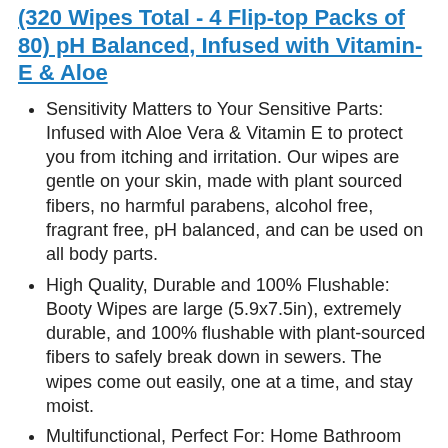(320 Wipes Total - 4 Flip-top Packs of 80) pH Balanced, Infused with Vitamin-E & Aloe
Sensitivity Matters to Your Sensitive Parts: Infused with Aloe Vera & Vitamin E to protect you from itching and irritation. Our wipes are gentle on your skin, made with plant sourced fibers, no harmful parabens, alcohol free, fragrant free, pH balanced, and can be used on all body parts.
High Quality, Durable and 100% Flushable: Booty Wipes are large (5.9x7.5in), extremely durable, and 100% flushable with plant-sourced fibers to safely break down in sewers. The wipes come out easily, one at a time, and stay moist.
Multifunctional, Perfect For: Home Bathroom Use, Feminine Hygiene, Facial Cleansing, Sensitive Skin, Public